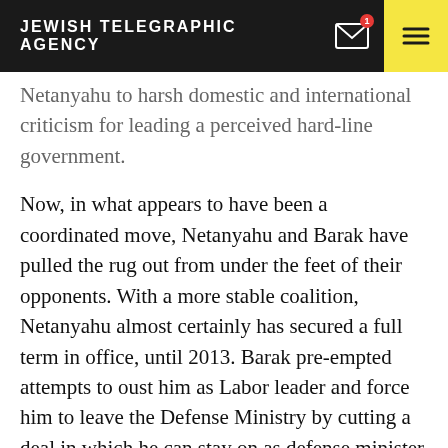JEWISH TELEGRAPHIC AGENCY
Netanyahu to harsh domestic and international criticism for leading a perceived hard-line government.
Now, in what appears to have been a coordinated move, Netanyahu and Barak have pulled the rug out from under the feet of their opponents. With a more stable coalition, Netanyahu almost certainly has secured a full term in office, until 2013. Barak pre-empted attempts to oust him as Labor leader and force him to leave the Defense Ministry by cutting a deal in which he can stay on as defense minister after leaving Labor.
Many Israelis on the left and right viewed Barak's move with deep skepticism. The new party he heads, called